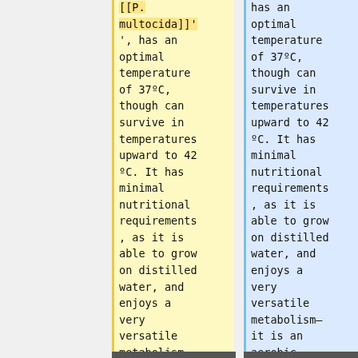[[P. multocida]]', has an optimal temperature of 37ºC, though can survive in temperatures upward to 42 ºC. It has minimal nutritional requirements, as it is able to grow on distilled water, and enjoys a very versatile metabolism—
has an optimal temperature of 37ºC, though can survive in temperatures upward to 42 ºC. It has minimal nutritional requirements, as it is able to grow on distilled water, and enjoys a very versatile metabolism—it is an aerobic